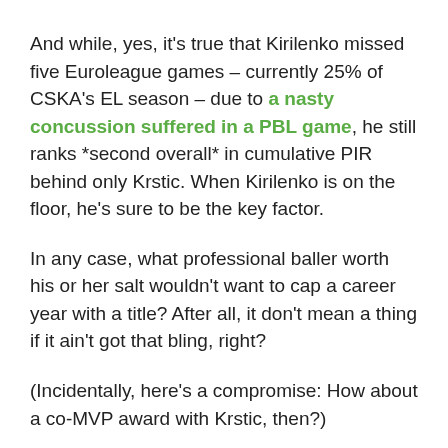And while, yes, it's true that Kirilenko missed five Euroleague games – currently 25% of CSKA's EL season – due to a nasty concussion suffered in a PBL game, he still ranks *second overall* in cumulative PIR behind only Krstic. When Kirilenko is on the floor, he's sure to be the key factor.
In any case, what professional baller worth his or her salt wouldn't want to cap a career year with a title? After all, it don't mean a thing if it ain't got that bling, right?
(Incidentally, here's a compromise: How about a co-MVP award with Krstic, then?)